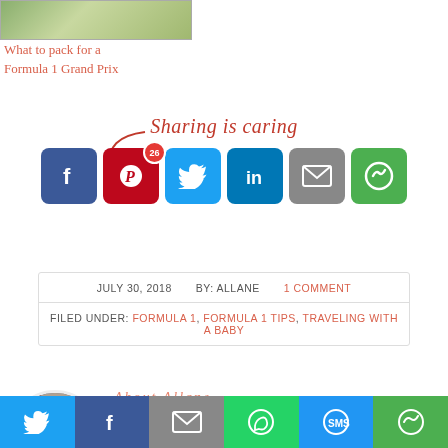[Figure (photo): Thumbnail photo of a Formula 1 race track scene, partially visible at top]
What to pack for a Formula 1 Grand Prix
[Figure (infographic): Sharing is caring heading with social share buttons: Facebook, Pinterest (26 saves), Twitter, LinkedIn, Email, More]
JULY 30, 2018   BY: ALLANE   1 COMMENT
FILED UNDER: FORMULA 1, FORMULA 1 TIPS, TRAVELING WITH A BABY
About Allane
[Figure (photo): Circular portrait photo of Allane, a young woman wearing a white hat and polka-dot dress]
A Brazilian living in Germany. Married to Wolfi, mommy to Madu and Fitz...
[Figure (infographic): Bottom sharing bar with Twitter, Facebook, Email, WhatsApp, SMS, and More buttons]